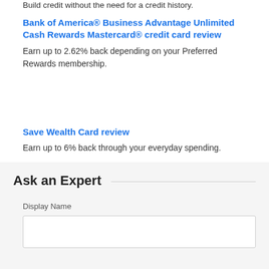Build credit without the need for a credit history.
Bank of America® Business Advantage Unlimited Cash Rewards Mastercard® credit card review
Earn up to 2.62% back depending on your Preferred Rewards membership.
Save Wealth Card review
Earn up to 6% back through your everyday spending.
Ask an Expert
Display Name